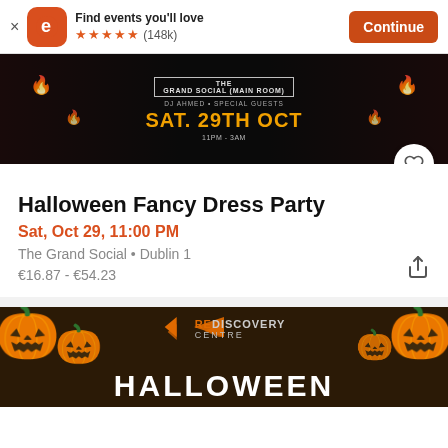Find events you'll love ★★★★★ (148k) Continue
[Figure (photo): Halloween event banner with dark background showing venue text 'The Grand Social (Main Room)', 'DJ Ahmed + Special Guests', 'SAT. 29TH OCT', '11PM - 3AM' with decorative flame elements]
Halloween Fancy Dress Party
Sat, Oct 29, 11:00 PM
The Grand Social • Dublin 1
€16.87 - €54.23
[Figure (photo): Second event banner showing pumpkins and a jack-o-lantern with 'REDISCOVERY CENTRE' logo and 'HALLOWEEN' text at the bottom]